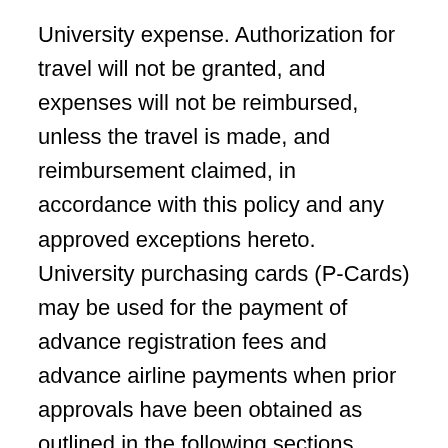University expense. Authorization for travel will not be granted, and expenses will not be reimbursed, unless the travel is made, and reimbursement claimed, in accordance with this policy and any approved exceptions hereto. University purchasing cards (P-Cards) may be used for the payment of advance registration fees and advance airline payments when prior approvals have been obtained as outlined in the following sections. University P-Cards may not be used for expenses incurred during actual travel time, except in instances of team/group travel.
This policy shall be consistent with the Comprehensive Travel Regulations of the State of Tennessee. Current reimbursement rates shall be issued in Section XIII of this policy.